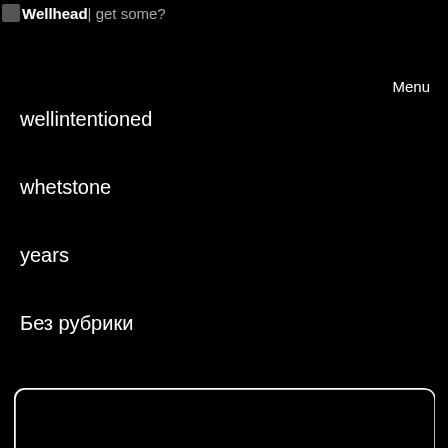Wellhead | get some?
Menu
wellintentioned
whetstone
years
Без рубрики
[Figure (screenshot): Dark rounded rectangle box, empty content area with white border]